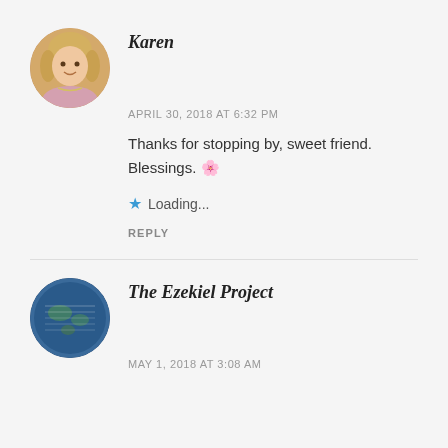[Figure (photo): Circular avatar of Karen, a blonde woman]
Karen
APRIL 30, 2018 AT 6:32 PM
Thanks for stopping by, sweet friend. Blessings. 🌸
★ Loading...
REPLY
[Figure (photo): Circular avatar of The Ezekiel Project, showing a globe/world image with text]
The Ezekiel Project
MAY 1, 2018 AT 3:08 AM